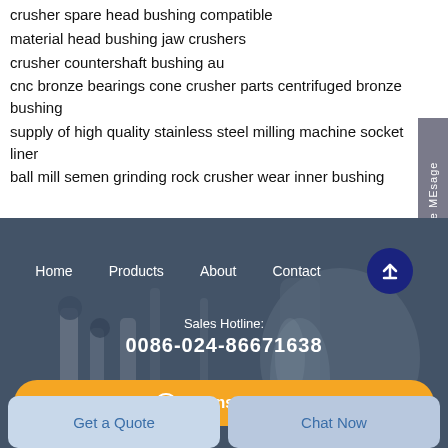crusher spare head bushing compatible
material head bushing jaw crushers
crusher countershaft bushing au
cnc bronze bearings cone crusher parts centrifuged bronze bushing
supply of high quality stainless steel milling machine socket liner
ball mill semen grinding rock crusher wear inner bushing
[Figure (screenshot): Website footer banner with navigation links (Home, Products, About, Contact), an up-arrow circle button, Sales Hotline label, phone number 0086-024-86671638, and an orange Consultation button. Below are two buttons: Get a Quote and Chat Now.]